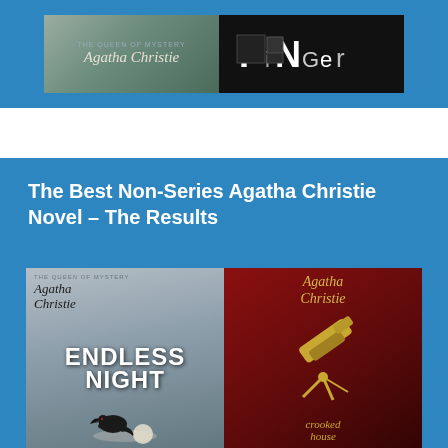[Figure (illustration): Two book covers side by side on a blue banner background. Left cover shows Agatha Christie cursive text on a dark background. Right cover shows 'Finger' text in ransom-note style lettering on a dark/black background.]
The Best Non-Series Agatha Christie Novel – The Results
[Figure (illustration): Two Agatha Christie book covers side by side. Left: 'Endless Night' with Agatha Christie cursive author name, grey cover with a black crow/raven and moon. Right: 'Crooked House' with Agatha Christie in gold cursive on a dark red background with a telescope graphic and yellow text at bottom.]